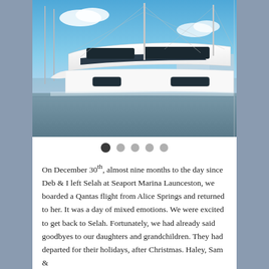[Figure (photo): A white catamaran sailboat docked at a marina. The boat has a sleek white hull with dark rectangular porthole windows. Blue sky with some clouds in the background, other boats and a building visible in the marina.]
On December 30th, almost nine months to the day since Deb & I left Selah at Seaport Marina Launceston, we boarded a Qantas flight from Alice Springs and returned to her. It was a day of mixed emotions. We were excited to get back to Selah. Fortunately, we had already said goodbyes to our daughters and grandchildren. They had departed for their holidays, after Christmas. Haley, Sam &